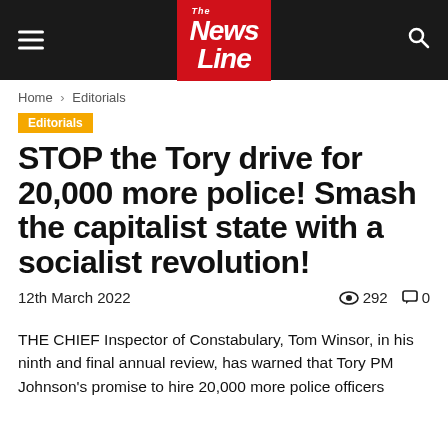News Line
Home › Editorials
Editorials
STOP the Tory drive for 20,000 more police! Smash the capitalist state with a socialist revolution!
12th March 2022   👁 292   💬 0
THE CHIEF Inspector of Constabulary, Tom Winsor, in his ninth and final annual review, has warned that Tory PM Johnson's promise to hire 20,000 more police officers